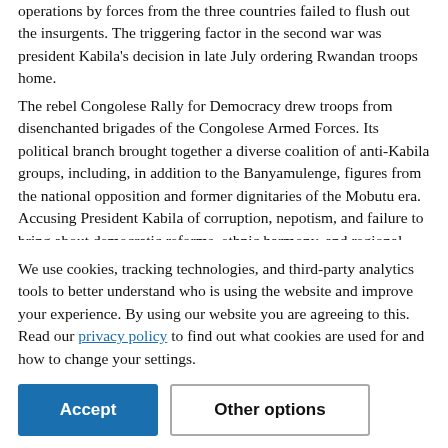operations by forces from the three countries failed to flush out the insurgents. The triggering factor in the second war was president Kabila's decision in late July ordering Rwandan troops home.
The rebel Congolese Rally for Democracy drew troops from disenchanted brigades of the Congolese Armed Forces. Its political branch brought together a diverse coalition of anti-Kabila groups, including, in addition to the Banyamulenge, figures from the national opposition and former dignitaries of the Mobutu era. Accusing President Kabila of corruption, nepotism, and failure to bring about democratic reforms, ethnic harmony, and regional stability the rebels vowed to correct these ills and to open the democratization process to other political forces. Their bid to remove the government in a lightening campaign was, however,
We use cookies, tracking technologies, and third-party analytics tools to better understand who is using the website and improve your experience. By using our website you are agreeing to this. Read our privacy policy to find out what cookies are used for and how to change your settings.